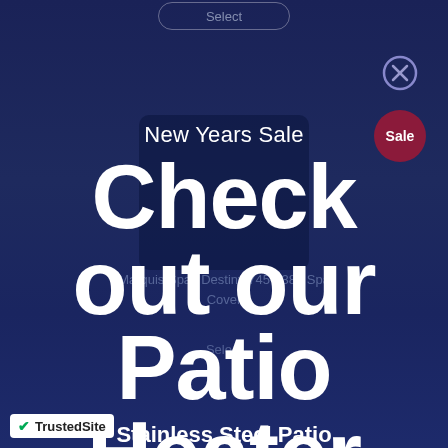Select
New Years Sale
Check out our Patio Heater
Marquis Spas Destiny 745-1389 Spa Cover
Select
[Figure (logo): TrustedSite badge with green checkmark]
Stainless Steel Patio